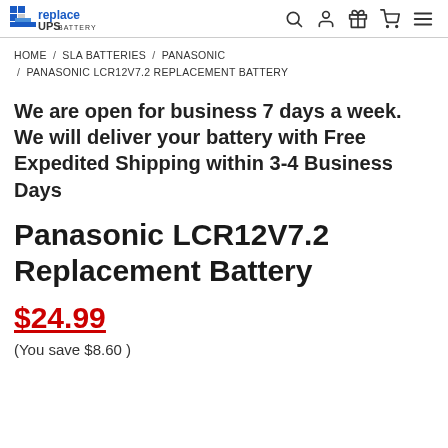ReplaceUPS Battery
HOME / SLA BATTERIES / PANASONIC / PANASONIC LCR12V7.2 REPLACEMENT BATTERY
We are open for business 7 days a week. We will deliver your battery with Free Expedited Shipping within 3-4 Business Days
Panasonic LCR12V7.2 Replacement Battery
$24.99
(You save $8.60 )